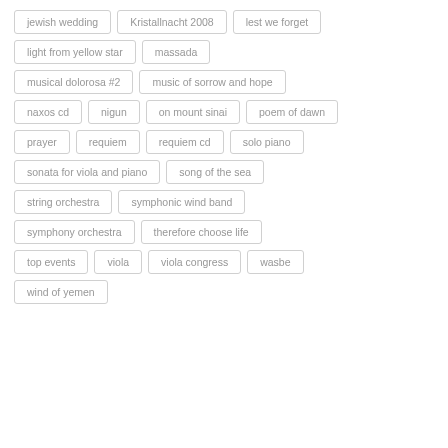jewish wedding
Kristallnacht 2008
lest we forget
light from yellow star
massada
musical dolorosa #2
music of sorrow and hope
naxos cd
nigun
on mount sinai
poem of dawn
prayer
requiem
requiem cd
solo piano
sonata for viola and piano
song of the sea
string orchestra
symphonic wind band
symphony orchestra
therefore choose life
top events
viola
viola congress
wasbe
wind of yemen